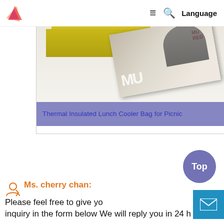Navigation bar with logo, hamburger menu, search icon, Language
[Figure (photo): Product photo showing a yellow thermal insulated lunch cooler bag with a magazine (MU cover) placed on a white surface]
Thermal Insulated Lunch Cooler Bag for Picnic
Ms. cherry chan: Please feel free to give your inquiry in the form below We will reply you in 24 h